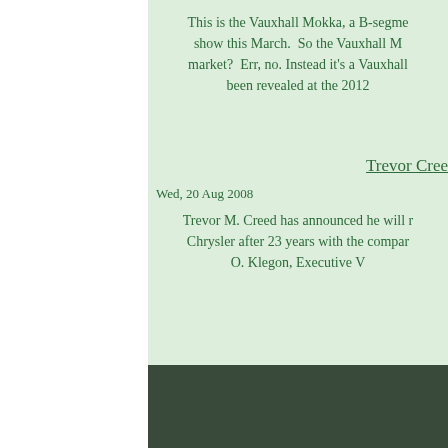This is the Vauxhall Mokka, a B-segme show this March. So the Vauxhall M market? Err, no. Instead it’s a Vauxhall been revealed at the 2012
Trevor Cree
Wed, 20 Aug 2008
Trevor M. Creed has announced he will r Chrysler after 23 years with the compar O. Klegon, Executive V